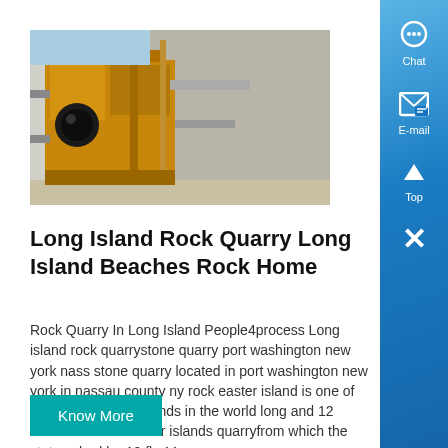[Figure (photo): Industrial rock quarry machinery — yellow/orange heavy equipment against a concrete wall]
Long Island Rock Quarry Long Island Beaches Rock Home
Rock Quarry In Long Island People4process Long island rock quarrystone quarry port washington new york nassau stone quarry located in port washington new york in nassau county ny rock easter island is one of the most famous islands in the world long and 12 kilometers wideeaster islands quarryfrom which the statues had be 10 fly 11...
Know More